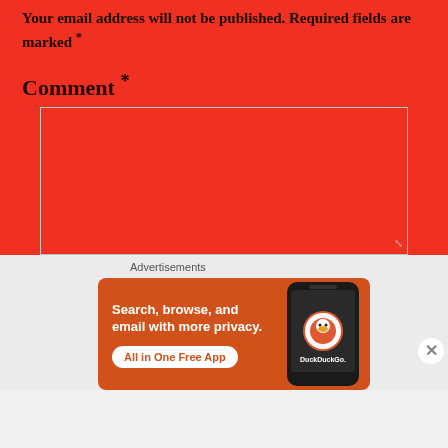Your email address will not be published. Required fields are marked *
Comment *
[Figure (screenshot): Empty comment textarea with resize handle, red background]
Advertisements
[Figure (infographic): DuckDuckGo advertisement banner: Search, browse, and email with more privacy. All in One Free App. Shows phone with DuckDuckGo logo.]